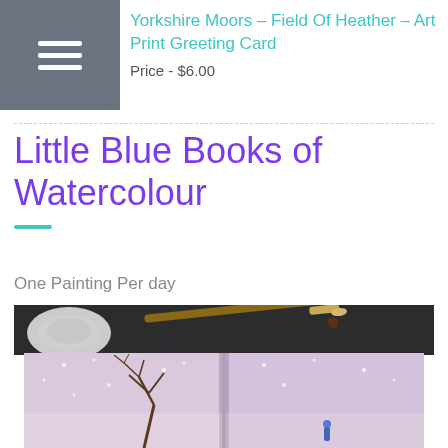Yorkshire Moors – Field Of Heather – Art Print Greeting Card
Price - $6.00
Little Blue Books of Watercolour
One Painting Per day
[Figure (photo): A watercolour sketchbook lying open, showing a winter night scene with a bare tree, snow dots, and a small figure, with a paintbrush and a small white ceramic dish in the background on a dark surface.]